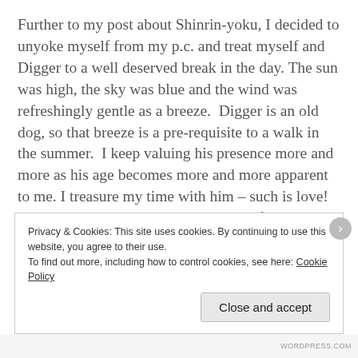Further to my post about Shinrin-yoku, I decided to unyoke myself from my p.c. and treat myself and Digger to a well deserved break in the day. The sun was high, the sky was blue and the wind was refreshingly gentle as a breeze.  Digger is an old dog, so that breeze is a pre-requisite to a walk in the summer.  I keep valuing his presence more and more as his age becomes more and more apparent to me. I treasure my time with him – such is love!  I was considering this and more as I reflected on my life and times.  I have had a complicated relationship with love – I crave it's presence and sumultaneously feel I
Privacy & Cookies: This site uses cookies. By continuing to use this website, you agree to their use.
To find out more, including how to control cookies, see here: Cookie Policy